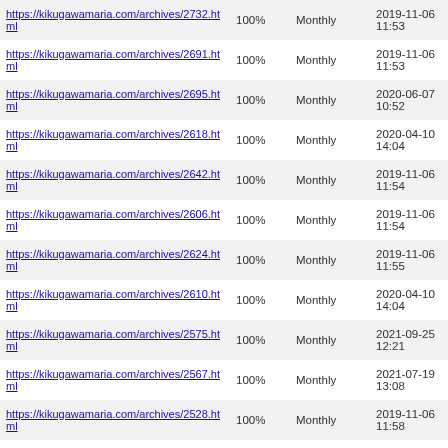| URL | Priority | Change Frequency | Last Modified |
| --- | --- | --- | --- |
| https://kikugawamaria.com/archives/2732.html | 100% | Monthly | 2019-11-06 11:53 |
| https://kikugawamaria.com/archives/2691.html | 100% | Monthly | 2019-11-06 11:53 |
| https://kikugawamaria.com/archives/2695.html | 100% | Monthly | 2020-06-07 10:52 |
| https://kikugawamaria.com/archives/2618.html | 100% | Monthly | 2020-04-10 14:04 |
| https://kikugawamaria.com/archives/2642.html | 100% | Monthly | 2019-11-06 11:54 |
| https://kikugawamaria.com/archives/2606.html | 100% | Monthly | 2019-11-06 11:54 |
| https://kikugawamaria.com/archives/2624.html | 100% | Monthly | 2019-11-06 11:55 |
| https://kikugawamaria.com/archives/2610.html | 100% | Monthly | 2020-04-10 14:04 |
| https://kikugawamaria.com/archives/2575.html | 100% | Monthly | 2021-09-25 12:21 |
| https://kikugawamaria.com/archives/2567.html | 100% | Monthly | 2021-07-19 13:08 |
| https://kikugawamaria.com/archives/2528.html | 100% | Monthly | 2019-11-06 11:58 |
| https://kikugawamaria.com/archives/2517.html | 100% | Monthly | 2019-11-06 11:58 |
| (partial row visible) | 100% | Monthly | 2019-11-06 |